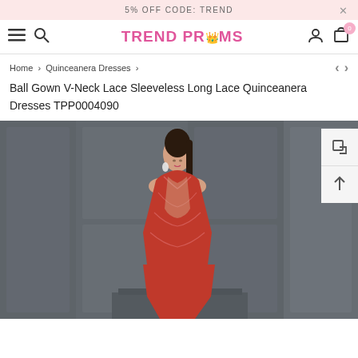5% OFF CODE: TREND
[Figure (logo): Trend Proms logo with crown icon and pink text]
Home › Quinceanera Dresses ›
Ball Gown V-Neck Lace Sleeveless Long Lace Quinceanera Dresses TPP0004090
[Figure (photo): Woman wearing a red lace ball gown with V-neck, sleeveless design, posing in front of a dark grey paneled wall.]